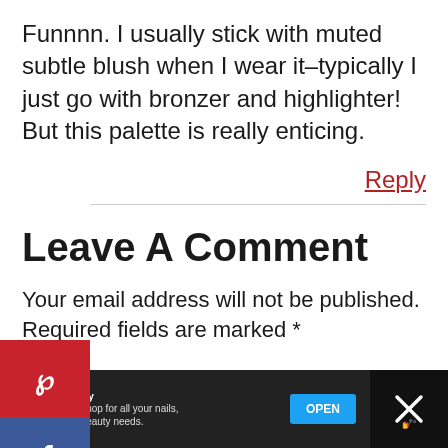Funnnn. I usually stick with muted subtle blush when I wear it–typically I just go with bronzer and highlighter! But this palette is really enticing.
Reply
Leave A Comment
Your email address will not be published. Required fields are marked *
[Figure (other): Advertisement banner: C8 Nail Supply - The one stop shop for all your nails, brushes, and beauty needs. OPEN button.]